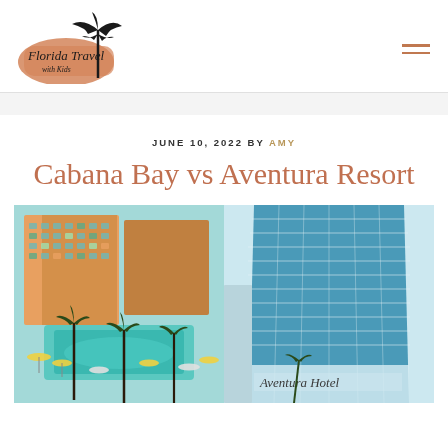[Figure (logo): Florida Travel with Kids logo - script text with palm tree on orange background]
JUNE 10, 2022 BY AMY
Cabana Bay vs Aventura Resort
[Figure (photo): Two hotel photos side by side: left shows Cabana Bay resort pool area with colorful hotel building and palm trees; right shows Aventura Hotel modern glass tower exterior with sign reading 'Aventura Hotel']